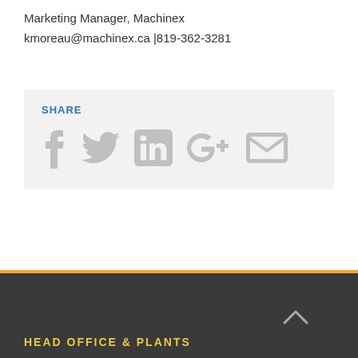Marketing Manager, Machinex
kmoreau@machinex.ca |819-362-3281
[Figure (infographic): Share section with social media icons: Facebook, Twitter, LinkedIn, Google+, Email on a light grey background]
HEAD OFFICE & PLANTS